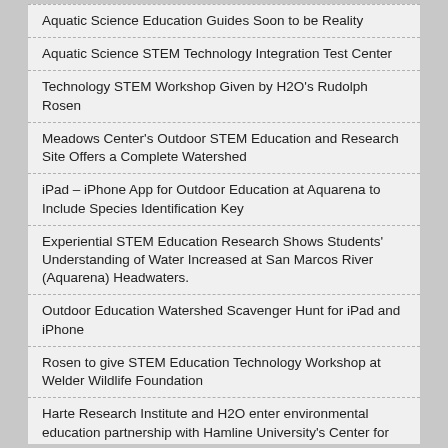Aquatic Science Education Guides Soon to be Reality
Aquatic Science STEM Technology Integration Test Center
Technology STEM Workshop Given by H2O's Rudolph Rosen
Meadows Center's Outdoor STEM Education and Research Site Offers a Complete Watershed
iPad – iPhone App for Outdoor Education at Aquarena to Include Species Identification Key
Experiential STEM Education Research Shows Students' Understanding of Water Increased at San Marcos River (Aquarena) Headwaters.
Outdoor Education Watershed Scavenger Hunt for iPad and iPhone
Rosen to give STEM Education Technology Workshop at Welder Wildlife Foundation
Harte Research Institute and H2O enter environmental education partnership with Hamline University's Center for Global Environmental Education (CGEE) and the International Crane Foundation (ICF).
Educational Video to Help Kick-Off New Multi-Media Water Science Display in Discovery Hall
New Mobile Technology App Now Under Development by H2O for Outdoor STEM Education in Areas Without Mobile Device Connectivity